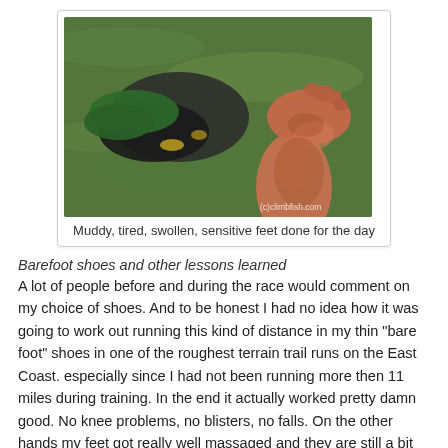[Figure (photo): Photo of a muddy, bare human foot and leg resting on grass next to dark minimalist shoes and a green cloth. Watermark reads (c)climbfish.com]
Muddy, tired, swollen, sensitive feet done for the day
Barefoot shoes and other lessons learned
A lot of people before and during the race would comment on my choice of shoes. And to be honest I had no idea how it was going to work out running this kind of distance in my thin "bare foot" shoes in one of the roughest terrain trail runs on the East Coast. especially since I had not been running more then 11 miles during training. In the end it actually worked pretty damn good. No knee problems, no blisters, no falls. On the other hands my feet got really well massaged and they are still a bit swollen a few days later, also I was not